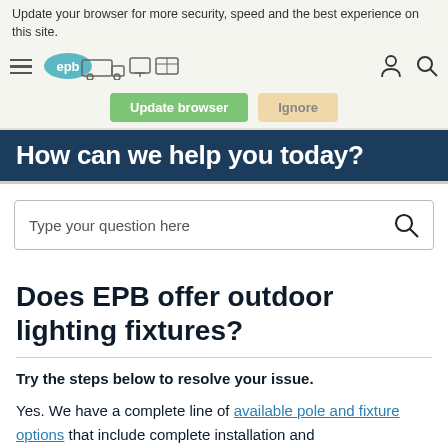Update your browser for more security, speed and the best experience on this site. Update browser Ignore
How can we help you today?
Type your question here
Does EPB offer outdoor lighting fixtures?
Try the steps below to resolve your issue.
Yes. We have a complete line of available pole and fixture options that include complete installation and